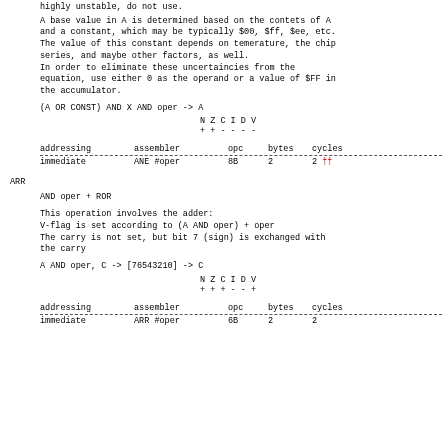highly unstable, do not use.
A base value in A is determined based on the contets of A
and a constant, which may be typically $00, $ff, $ee, etc.
The value of this constant depends on temerature, the chip
series, and maybe other factors, as well.
In order to eliminate these uncertaincies from the
equation, use either 0 as the operand or a value of $FF in
the accumulator.
| N | Z | C | I | D | V |
| --- | --- | --- | --- | --- | --- |
| + | + | - | - | - | - |
| addressing | assembler | opc | bytes | cycles |
| --- | --- | --- | --- | --- |
| immediate | ANE #oper | 8B | 2 | 2 †† |
ARR
AND oper + ROR
This operation involves the adder:
V-flag is set according to (A AND oper) + oper
The carry is not set, but bit 7 (sign) is exchanged with
the carry
| N | Z | C | I | D | V |
| --- | --- | --- | --- | --- | --- |
| + | + | + | - | - | + |
| addressing | assembler | opc | bytes | cycles |
| --- | --- | --- | --- | --- |
| immediate | ARR #oper | 6B | 2 | 2 |